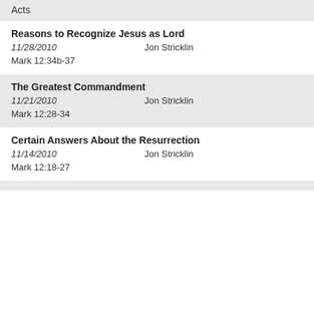Acts
Reasons to Recognize Jesus as Lord
11/28/2010   Jon Stricklin
Mark 12:34b-37
The Greatest Commandment
11/21/2010   Jon Stricklin
Mark 12:28-34
Certain Answers About the Resurrection
11/14/2010   Jon Stricklin
Mark 12:18-27